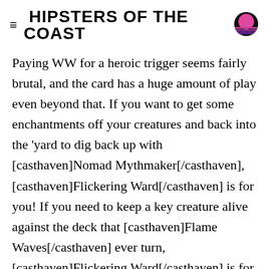HIPSTERS OF THE COAST
Paying WW for a heroic trigger seems fairly brutal, and the card has a huge amount of play even beyond that. If you want to get some enchantments off your creatures and back into the 'yard to dig back up with [casthaven]Nomad Mythmaker[/casthaven], [casthaven]Flickering Ward[/casthaven] is for you! If you need to keep a key creature alive against the deck that [casthaven]Flame Waves[/casthaven] ever turn, [casthaven]Flickering Ward[/casthaven] is for